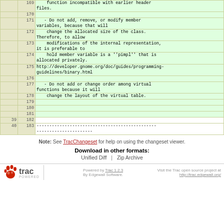| old | new | code |
| --- | --- | --- |
|  | 169 |     function incompatible with earlier header
files. |
|  | 170 |  |
|  | 171 |    - Do not add, remove, or modify member
variables, because that will |
|  | 172 |     change the allocated size of the class.
Therefore, to allow |
|  | 173 |     modifications of the internal representation,
it is preferable to |
|  | 174 |     hold member variable is a ''pimpl'' that is
allocated privately. |
|  | 175 | http://developer.gnome.org/doc/guides/programming-
guidelines/binary.html |
|  | 176 |  |
|  | 177 |    - Do not add or change order among virtual
functions because it will |
|  | 178 |     change the layout of the virtual table. |
|  | 179 |  |
|  | 180 |  |
|  | 181 |  |
| 39 | 182 |  |
| 40 | 183 | -----------------------------------------------
---------------------- |
Note: See TracChangeset for help on using the changeset viewer.
Download in other formats:
Unified Diff | Zip Archive
Powered by Trac 1.2.3
By Edgewall Software.
Visit the Trac open source project at http://trac.edgewall.org/